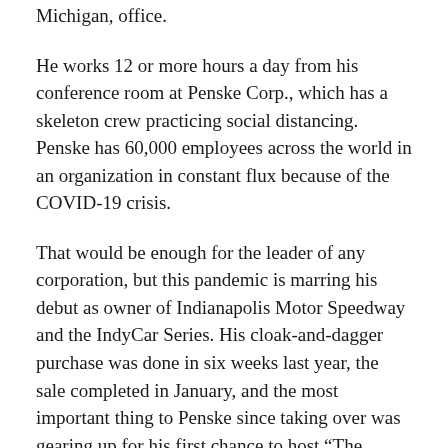Michigan, office.
He works 12 or more hours a day from his conference room at Penske Corp., which has a skeleton crew practicing social distancing. Penske has 60,000 employees across the world in an organization in constant flux because of the COVID-19 crisis.
That would be enough for the leader of any corporation, but this pandemic is marring his debut as owner of Indianapolis Motor Speedway and the IndyCar Series. His cloak-and-dagger purchase was done in six weeks last year, the sale completed in January, and the most important thing to Penske since taking over was gearing up for his first chance to host “The Greatest Spectacle in Racing.”
The Indianapolis 500 won't be run on Memorial Day weekend for the first time since 1946 after Penske on Thursday postponed one of America’s crown jewel